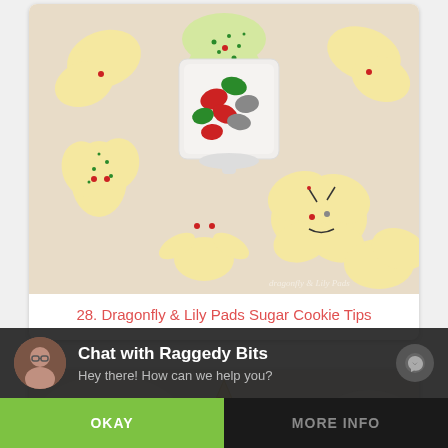[Figure (photo): Photo of butterfly and dragonfly shaped sugar cookies arranged around a white square dish filled with colorful Hershey's kisses. Cookies are decorated with red dots and green sprinkles.]
28. Dragonfly & Lily Pads Sugar Cookie Tips
[Figure (photo): Close-up photo of a star-shaped sugar cookie with pink sprinkles and white icing on a white surface.]
Chat with Raggedy Bits
Hey there! How can we help you?
OKAY
MORE INFO